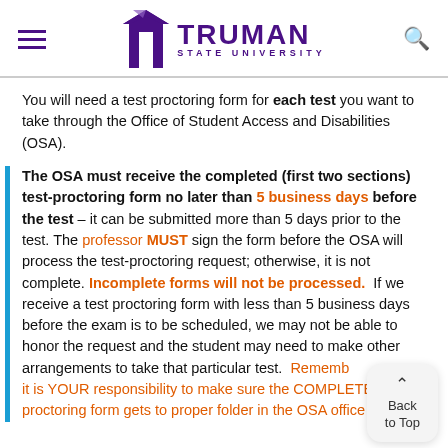Truman State University
You will need a test proctoring form for each test you want to take through the Office of Student Access and Disabilities (OSA).
The OSA must receive the completed (first two sections) test-proctoring form no later than 5 business days before the test – it can be submitted more than 5 days prior to the test. The professor MUST sign the form before the OSA will process the test-proctoring request; otherwise, it is not complete. Incomplete forms will not be processed. If we receive a test proctoring form with less than 5 business days before the exam is to be scheduled, we may not be able to honor the request and the student may need to make other arrangements to take that particular test. Remember that it is YOUR responsibility to make sure the COMPLETE proctoring form gets to proper folder in the OSA office